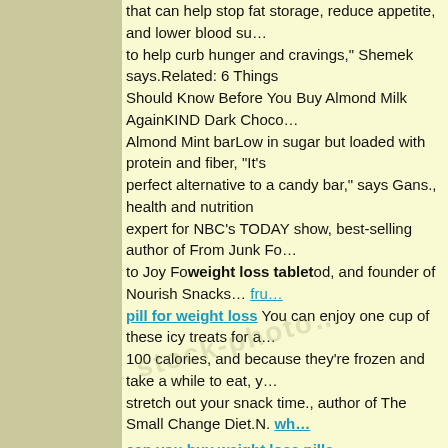that can help stop fat storage, reduce appetite, and lower blood su... to help curb hunger and cravings," Shemek says.Related: 6 Things Should Know Before You Buy Almond Milk AgainKIND Dark Choco... Almond Mint barLow in sugar but loaded with protein and fiber, "It's perfect alternative to a candy bar," says Gans., health and nutrition expert for NBC's TODAY show, best-selling author of From Junk F... to Joy Fo[weight loss tablet]od, and founder of Nourish Snacks...[fru...] [pill for weight loss] You can enjoy one cup of these icy treats for a... 100 calories, and because they're frozen and take a while to eat, y... stretch out your snack time., author of The Small Change Diet.N.[wh...] [can you buy weight loss pills]
[children s weight loss pills] ) View this post on Instagram Did you kn... that our Dark Chocolate Almond Mint bar contains 5g of sugar? #HappySnacking #5GramsofSugar #MintyFresh #GlutenFree A pos... shared by KIND Snacks (@kindsnacks) on Jan 9, 2017 at 6:00pm PSTYogurt-dipped strawberriesrobertsre/Getty ImagesThere are fe... things in nature more delicious than a ripe strawberry, but throw in some yogurt to put this sweet snack over the top.) View this post o... Instagram Did you know that our Dark Chocolate Almond Mint bar contains 5g of sugar? #HappySnacking #5GramsofSugar #MintyFr... #GlutenFree A post shared by KIND Snacks (@kindsnacks) on Ja... 2017 at 6:00pm PSTYogurt-dipped strawberriesrobertsre/Getty